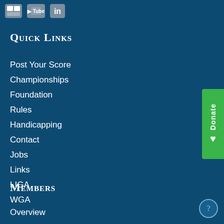[Figure (logo): Social media icons: a small logo icon, YouTube icon, and LinkedIn icon on dark blue background]
Quick Links
Post Your Score
Championships
Foundation
Rules
Handicapping
Contact
Jobs
Links
LIGA
WGA
Members
Overview